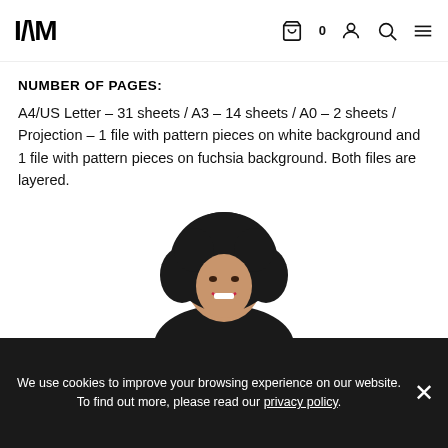IAM [navigation icons: cart 0, account, search, menu]
NUMBER OF PAGES:
A4/US Letter – 31 sheets / A3 – 14 sheets / A0 – 2 sheets / Projection – 1 file with pattern pieces on white background and 1 file with pattern pieces on fuchsia background. Both files are layered.
[Figure (other): Button: SEE AURA (black border, white background, bold uppercase text)]
[Figure (photo): Person with curly dark hair, smiling, wearing dark top, cropped at top of frame]
We use cookies to improve your browsing experience on our website. To find out more, please read our privacy policy.